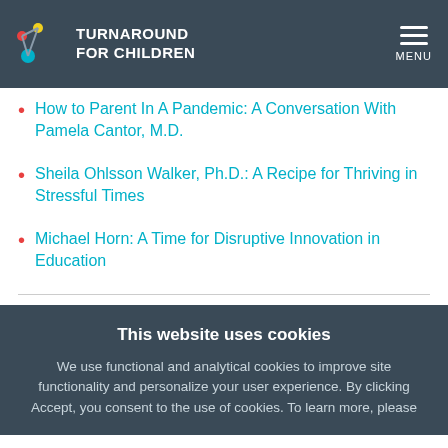TURNAROUND FOR CHILDREN
How to Parent In A Pandemic: A Conversation With Pamela Cantor, M.D.
Sheila Ohlsson Walker, Ph.D.: A Recipe for Thriving in Stressful Times
Michael Horn: A Time for Disruptive Innovation in Education
This website uses cookies
We use functional and analytical cookies to improve site functionality and personalize your user experience. By clicking Accept, you consent to the use of cookies. To learn more, please